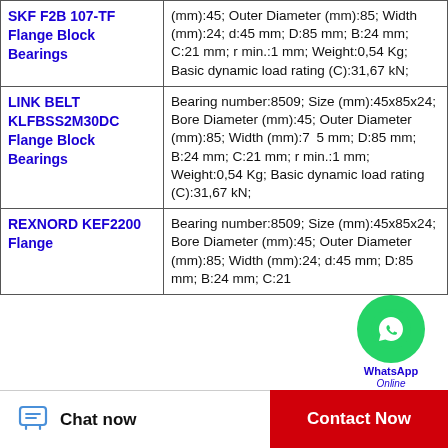| Product Name | Specifications |
| --- | --- |
| SKF F2B 107-TF Flange Block Bearings | (mm):45; Outer Diameter (mm):85; Width (mm):24; d:45 mm; D:85 mm; B:24 mm; C:21 mm; r min.:1 mm; Weight:0,54 Kg; Basic dynamic load rating (C):31,67 kN; |
| LINK BELT KLFBSS2M30DC Flange Block Bearings | Bearing number:8509; Size (mm):45x85x24; Bore Diameter (mm):45; Outer Diameter (mm):85; Width (mm):24; d:45 mm; D:85 mm; B:24 mm; C:21 mm; r min.:1 mm; Weight:0,54 Kg; Basic dynamic load rating (C):31,67 kN; |
| REXNORD KEF2200 Flange | Bearing number:8509; Size (mm):45x85x24; Bore Diameter (mm):45; Outer Diameter (mm):85; Width (mm):24; d:45 mm; D:85 mm; B:24 mm; C:21 |
Chat now
Contact Now